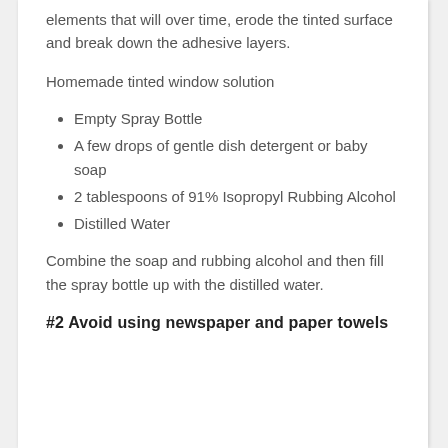elements that will over time, erode the tinted surface and break down the adhesive layers.
Homemade tinted window solution
Empty Spray Bottle
A few drops of gentle dish detergent or baby soap
2 tablespoons of 91% Isopropyl Rubbing Alcohol
Distilled Water
Combine the soap and rubbing alcohol and then fill the spray bottle up with the distilled water.
#2 Avoid using newspaper and paper towels